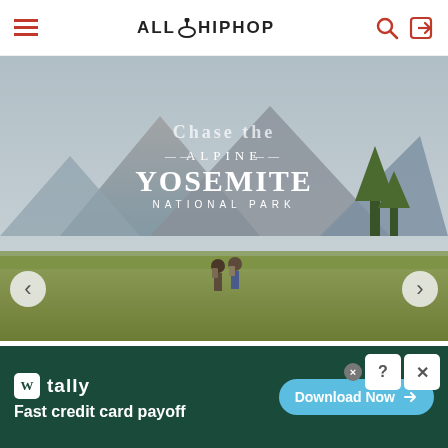ALLHIPHOP
[Figure (photo): Advertisement banner showing Yosemite National Park — two hikers walking through alpine meadow with granite cliffs in background, text reads 'Chase the Alpine YOSEMITE NATIONAL PARK'. Navigation arrows on left and right sides. Below image: 'DISCOVER AMAZING TRAVEL SIDESTAGE.COM']
©AllHipHop 2020  DMCA
[Figure (infographic): Tally app advertisement banner on dark green background. Logo: W icon and 'tally'. Text: 'Fast credit card payoff'. Blue pill button: 'Download Now →'. Close/help buttons in top right corner.]